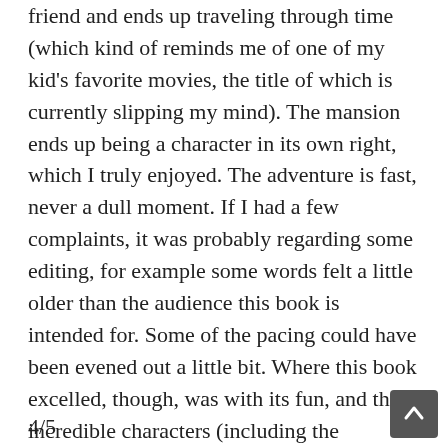friend and ends up traveling through time (which kind of reminds me of one of my kid's favorite movies, the title of which is currently slipping my mind). The mansion ends up being a character in its own right, which I truly enjoyed. The adventure is fast, never a dull moment. If I had a few complaints, it was probably regarding some editing, for example some words felt a little older than the audience this book is intended for. Some of the pacing could have been evened out a little bit. Where this book excelled, though, was with its fun, and the incredible characters (including the mansion) that Pflieger crafted. While it wasn't perfect, it was really enjoyable. I also absolutely adored the relationships that Max formed along the way. He ended up being a fantastic, genuine character, and the emotions he felt, and the relationships he formed felt very true to his evolution along the way.
4/5 ...